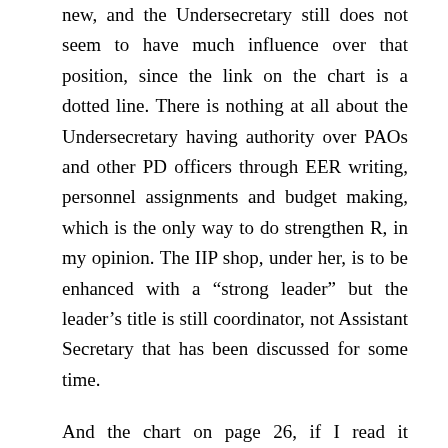new, and the Undersecretary still does not seem to have much influence over that position, since the link on the chart is a dotted line. There is nothing at all about the Undersecretary having authority over PAOs and other PD officers through EER writing, personnel assignments and budget making, which is the only way to do strengthen R, in my opinion. The IIP shop, under her, is to be enhanced with a “strong leader” but the leader’s title is still coordinator, not Assistant Secretary that has been discussed for some time.
And the chart on page 26, if I read it correctly,